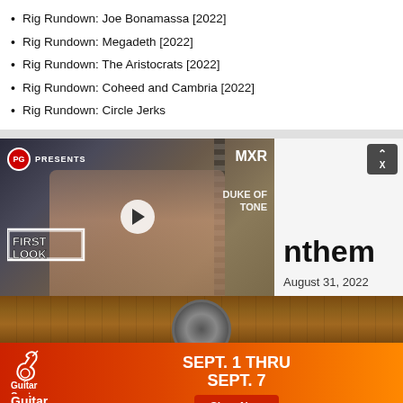Rig Rundown: Joe Bonamassa [2022]
Rig Rundown: Megadeth [2022]
Rig Rundown: The Aristocrats [2022]
Rig Rundown: Coheed and Cambria [2022]
Rig Rundown: Circle Jerks
[Figure (screenshot): Video thumbnail showing a man with a guitar, PG Presents banner, MXR Duke of Tone text, First Look badge, and play button]
nthem
August 31, 2022
[Figure (photo): Guitar Center advertisement banner with red-to-orange gradient, Guitar Center logo, SEPT. 1 THRU SEPT. 7 text, and Shop Now button]